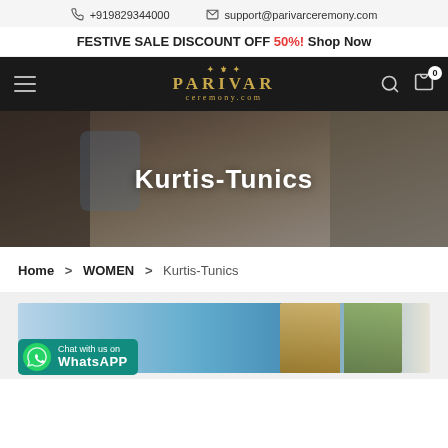+919829344000  support@parivarceremony.com
FESTIVE SALE DISCOUNT OFF 50%! Shop Now
[Figure (screenshot): Parivar Ceremony navigation bar with hamburger menu, Parivar Ceremony.com logo in gold, search icon, and cart icon with 0 badge]
[Figure (photo): Hero banner showing textile/fabric close-up with Kurtis-Tunics title overlay]
Kurtis-Tunics
Home > WOMEN > Kurtis-Tunics
[Figure (photo): Product banner showing two women in kurtis on light blue background with WhatsApp chat button overlay and KURTIS text partially visible]